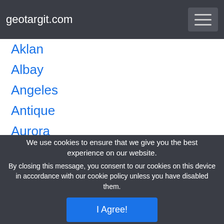geotargit.com
Aklan
Albay
Angeles
Antique
Aurora
Bacolod
Bago
Baguio
Bais
We use cookies to ensure that we give you the best experience on our website.
By closing this message, you consent to our cookies on this device in accordance with our cookie policy unless you have disabled them.
I Agree!